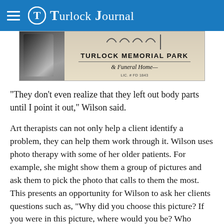Turlock Journal
[Figure (photo): Advertisement for Turlock Memorial Park & Funeral Home with arched architectural detail and figure silhouette. LIC. # FD 1843.]
“They don’t even realize that they left out body parts until I point it out,” Wilson said.
Art therapists can not only help a client identify a problem, they can help them work through it. Wilson uses photo therapy with some of her older patients. For example, she might show them a group of pictures and ask them to pick the photo that calls to them the most. This presents an opportunity for Wilson to ask her clients questions such as, “Why did you choose this picture? If you were in this picture, where would you be? Who would be with you?” The questions give clients the chance to discover aspects of themselves that they never knew about or memories they have forgotten, Wilson said.